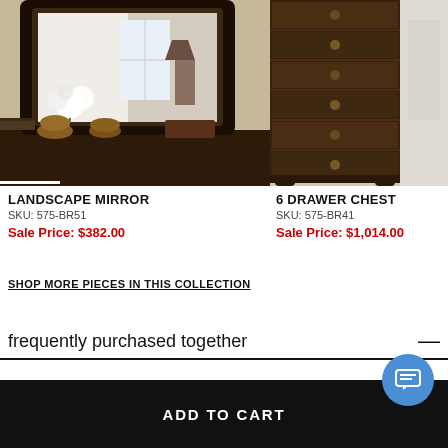[Figure (photo): Photo of a landscape mirror with ornate dark wood frame, showing a reflection of a room with a lamp. Below the mirror is a dresser with decorative items including white flowers in vases and amber glass vases.]
LANDSCAPE MIRROR
SKU: 575-BR51
Sale Price: $382.00
[Figure (photo): Photo of a 6 drawer chest in dark wood with ornate carved details and decorative hardware, partially cropped on the right side.]
6 DRAWER CHEST
SKU: 575-BR41
Sale Price: $1,014.00
SHOP MORE PIECES IN THIS COLLECTION
frequently purchased together
ADD TO CART